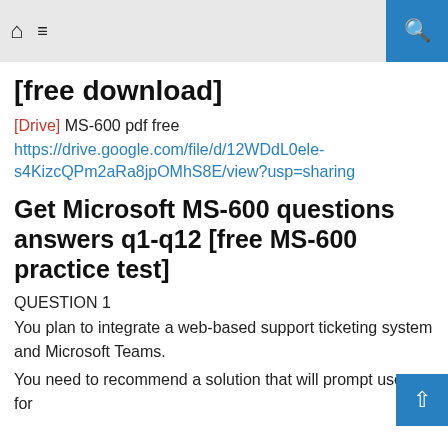[home icon] [menu icon] [search icon]
[free download]
[Drive] MS-600 pdf free
https://drive.google.com/file/d/12WDdL0ele-s4KizcQPm2aRa8jpOMhS8E/view?usp=sharing
Get Microsoft MS-600 questions answers q1-q12 [free MS-600 practice test]
QUESTION 1
You plan to integrate a web-based support ticketing system and Microsoft Teams.
You need to recommend a solution that will prompt users for